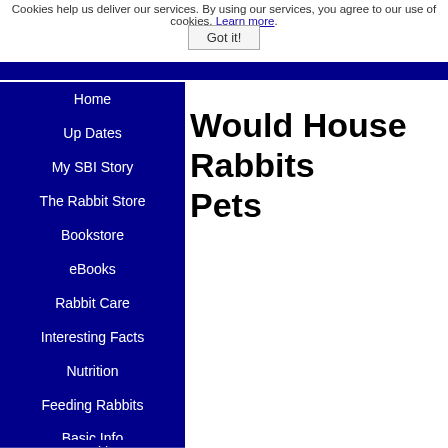Cookies help us deliver our services. By using our services, you agree to our use of cookies. Learn more.
Got it!
Home
Up Dates
My SBI Story
The Rabbit Store
Bookstore
eBooks
Rabbit Care
Interesting Facts
Nutrition
Feeding Rabbits
Basic Info
Health
Supplies
Would House Rabbits Pets